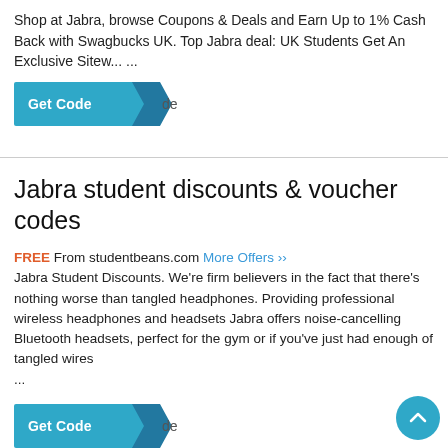Shop at Jabra, browse Coupons & Deals and Earn Up to 1% Cash Back with Swagbucks UK. Top Jabra deal: UK Students Get An Exclusive Sitew... ...
[Figure (screenshot): Teal 'Get Code' button with arrow and 'de' label]
Jabra student discounts & voucher codes
FREE From studentbeans.com More Offers »» Jabra Student Discounts. We're firm believers in the fact that there's nothing worse than tangled headphones. Providing professional wireless headphones and headsets Jabra offers noise-cancelling Bluetooth headsets, perfect for the gym or if you've just had enough of tangled wires ...
[Figure (screenshot): Teal 'Get Code' button with arrow and 'de' label at bottom]